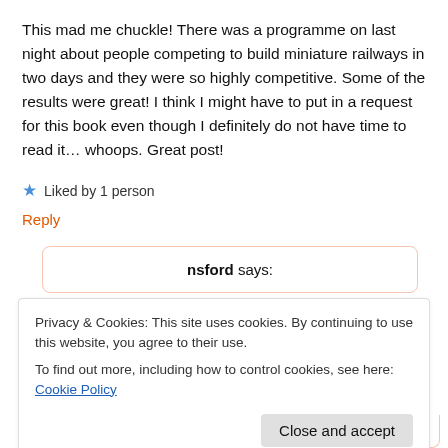This mad me chuckle! There was a programme on last night about people competing to build miniature railways in two days and they were so highly competitive. Some of the results were great! I think I might have to put in a request for this book even though I definitely do not have time to read it… whoops. Great post!
★ Liked by 1 person
Reply
nsford says:
Privacy & Cookies: This site uses cookies. By continuing to use this website, you agree to their use.
To find out more, including how to control cookies, see here: Cookie Policy
Close and accept